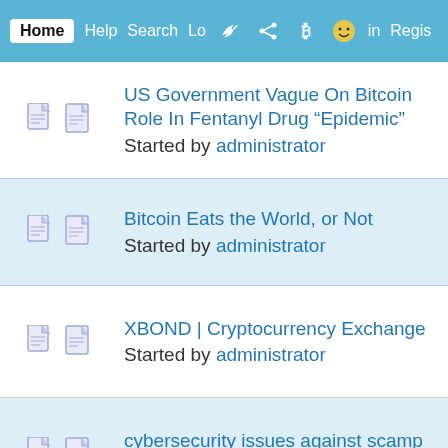Home  Help  Search  Login  Register
US Government Vague On Bitcoin Role In Fentanyl Drug “Epidemic”
Started by administrator
Bitcoin Eats the World, or Not
Started by administrator
XBOND | Cryptocurrency Exchange
Started by administrator
cybersecurity issues against scamp
Started by administrator
[VIDEO] Moonhits 1K BTC; 2-